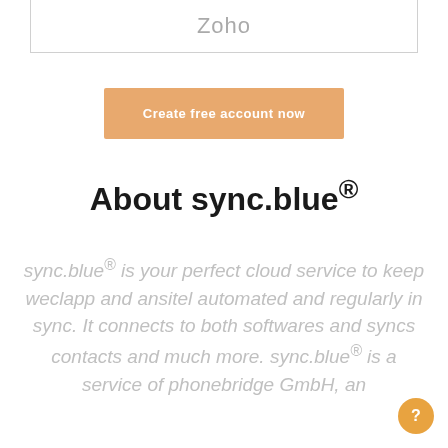Zoho
Create free account now
About sync.blue®
sync.blue® is your perfect cloud service to keep weclapp and ansitel automated and regularly in sync. It connects to both softwares and syncs contacts and much more. sync.blue® is a service of phonebridge GmbH, an